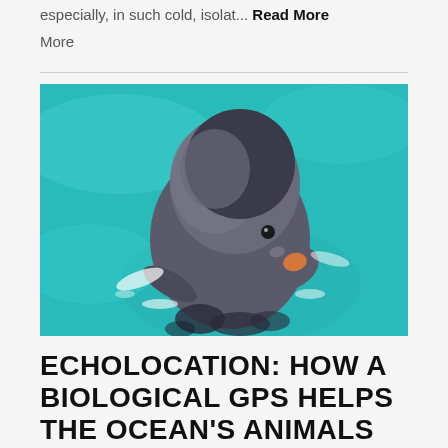especially, in such cold, isolat... Read More
[Figure (photo): A dolphin emerging from turquoise water, looking up at the camera with its head above the surface, mouth slightly open. The background is bright teal/turquoise water with white splashes around the dolphin.]
ECHOLOCATION: HOW A BIOLOGICAL GPS HELPS THE OCEAN'S ANIMALS